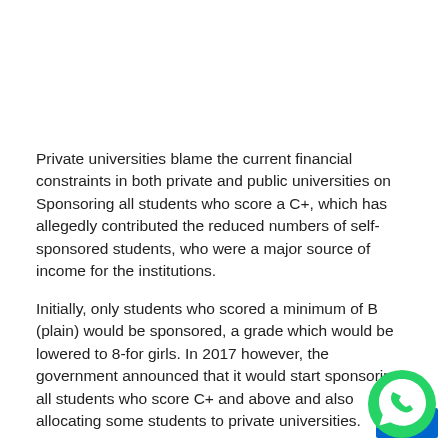Private universities blame the current financial constraints in both private and public universities on Sponsoring all students who score a C+, which has allegedly contributed the reduced numbers of self-sponsored students, who were a major source of income for the institutions.
Initially, only students who scored a minimum of B (plain) would be sponsored, a grade which would be lowered to 8-for girls. In 2017 however, the government announced that it would start sponsoring all students who score C+ and above and also allocating some students to private universities.
[Figure (logo): WhatsApp logo icon — green circular background with white phone/chat icon, with a blue square partially visible behind it]